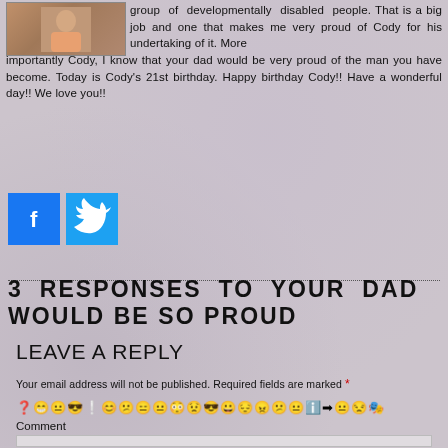[Figure (photo): A photo of a person partially visible at top left]
group of developmentally disabled people. That is a big job and one that makes me very proud of Cody for his undertaking of it. More importantly Cody, I know that your dad would be very proud of the man you have become. Today is Cody's 21st birthday. Happy birthday Cody!! Have a wonderful day!! We love you!!
[Figure (logo): Facebook share button (blue square with white f)]
[Figure (logo): Twitter share button (light blue square with white bird)]
3 RESPONSES TO YOUR DAD WOULD BE SO PROUD
LEAVE A REPLY
Your email address will not be published. Required fields are marked *
😕😀😐😎❗😀😕😐😐😶😕😎😀😔😠😒😐ℹ️➡😐😑🎭
Comment